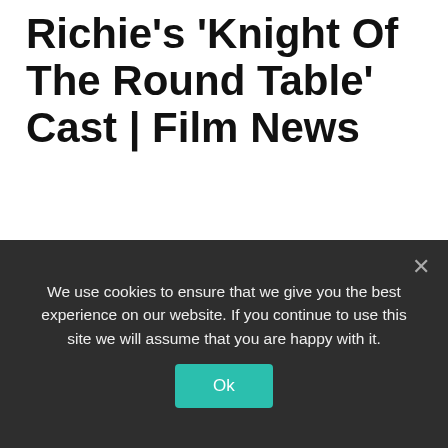Richie's 'Knight Of The Round Table' Cast | Film News
by Elly Jones · March 19, 2015
Despite having already begun filming this month, it seems that the casting for Guy Richie's first of...
[Figure (photo): Partial photo of a person's head with dark hair against a dark background]
We use cookies to ensure that we give you the best experience on our website. If you continue to use this site we will assume that you are happy with it.